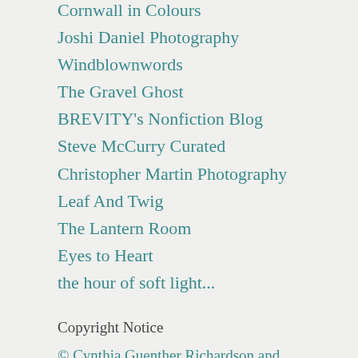Cornwall in Colours
Joshi Daniel Photography
Windblownwords
The Gravel Ghost
BREVITY's Nonfiction Blog
Steve McCurry Curated
Christopher Martin Photography
Leaf And Twig
The Lantern Room
Eyes to Heart
the hour of soft light...
Copyright Notice
© Cynthia Guenther Richardson and talesforlife.blog 2011- 2021. Unauthorized use and/or duplication of this material without express and written permission from this blog's